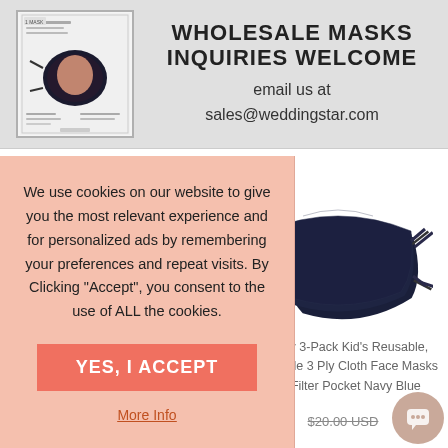[Figure (photo): Small thumbnail image of a face mask product catalog or flyer with text and a mask photo]
WHOLESALE MASKS INQUIRIES WELCOME
email us at sales@weddingstar.com
SIMILAR ITEMS
We use cookies on our website to give you the most relevant experience and for personalized ads by remembering your preferences and repeat visits. By Clicking "Accept", you consent to the use of ALL the cookies.
YES, I ACCEPT
More Info
[Figure (photo): Three navy blue cloth face masks stacked/overlapping, showing tie straps]
Variety 3-Pack Kid's Reusable, Washable 3 Ply Cloth Face Masks with Filter Pocket Navy Blue
$20.00 USD